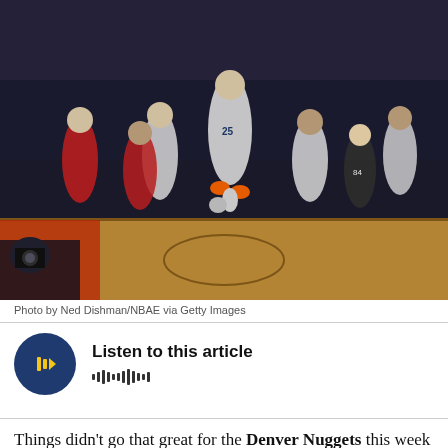[Figure (photo): NBA basketball game action shot showing Denver Nuggets players in white uniforms competing against opponents in red uniforms on a basketball court, with photographers and spectators visible in the background.]
Photo by Ned Dishman/NBAE via Getty Images
[Figure (other): Audio player widget with a circular dark blue play button featuring a yellow/gold play triangle icon, accompanied by 'Listen to this article' text and an audio waveform visualization.]
Things didn't go that great for the Denver Nuggets this week as they continued to struggle on the road.
Nuggets stumble out of the gate on road trip
The Nuggets wound up going two and two on the week because they had the benefit of playing the